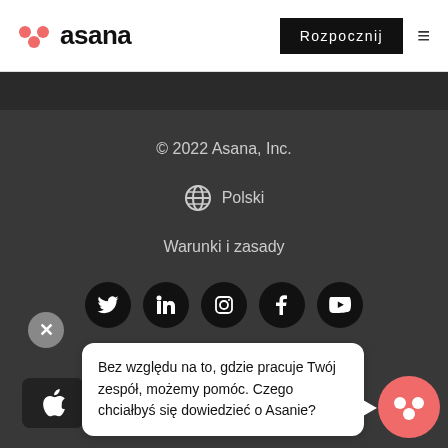[Figure (logo): Asana logo with coral dots and wordmark, navigation bar with 'Rozpocznij' button and hamburger menu]
© 2022 Asana, Inc.
🌐 Polski
Warunki i zasady
[Figure (infographic): Row of 5 social media icons (Twitter, LinkedIn, Instagram, Facebook, YouTube) as white icons on black circles]
Bez względu na to, gdzie pracuje Twój zespół, możemy pomóc. Czego chciałbyś się dowiedzieć o Asanie?